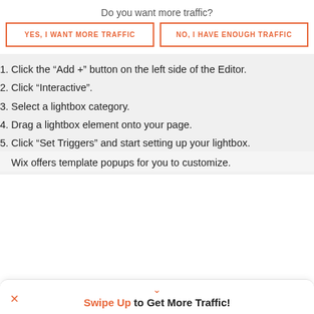Do you want more traffic?
[Figure (other): Two buttons: 'YES, I WANT MORE TRAFFIC' and 'NO, I HAVE ENOUGH TRAFFIC' with orange border and text on white background]
1. Click the “Add +” button on the left side of the Editor.
2. Click “Interactive”.
3. Select a lightbox category.
4. Drag a lightbox element onto your page.
5. Click “Set Triggers” and start setting up your lightbox.
Wix offers template popups for you to customize.
[Figure (other): Bottom bar with orange caret up arrow and text 'Swipe Up to Get More Traffic!' with an X close button on the left]